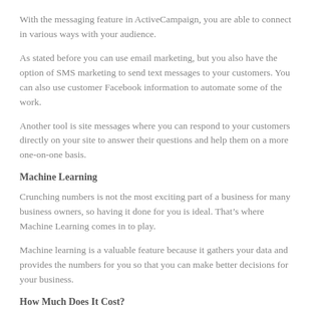With the messaging feature in ActiveCampaign, you are able to connect in various ways with your audience.
As stated before you can use email marketing, but you also have the option of SMS marketing to send text messages to your customers. You can also use customer Facebook information to automate some of the work.
Another tool is site messages where you can respond to your customers directly on your site to answer their questions and help them on a more one-on-one basis.
Machine Learning
Crunching numbers is not the most exciting part of a business for many business owners, so having it done for you is ideal. That’s where Machine Learning comes in to play.
Machine learning is a valuable feature because it gathers your data and provides the numbers for you so that you can make better decisions for your business.
How Much Does It Cost?